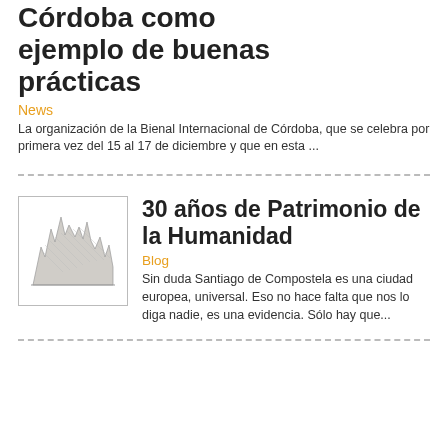Córdoba como ejemplo de buenas prácticas
News
La organización de la Bienal Internacional de Córdoba, que se celebra por primera vez del 15 al 17 de diciembre y que en esta ...
[Figure (illustration): Thumbnail image showing an illustrated cityscape silhouette with spiky architectural peaks, pencil-sketch style, inside a rectangular border]
30 años de Patrimonio de la Humanidad
Blog
Sin duda Santiago de Compostela es una ciudad europea, universal. Eso no hace falta que nos lo diga nadie, es una evidencia. Sólo hay que...